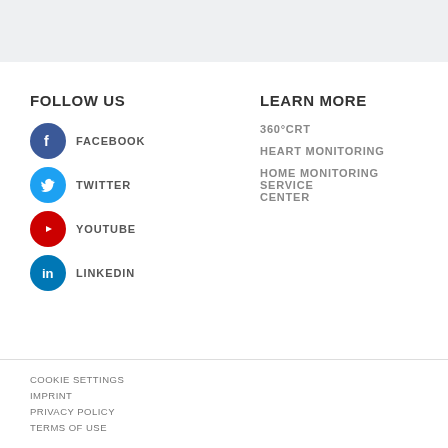FOLLOW US
FACEBOOK
TWITTER
YOUTUBE
LINKEDIN
LEARN MORE
360°CRT
HEART MONITORING
HOME MONITORING SERVICE CENTER
COOKIE SETTINGS
IMPRINT
PRIVACY POLICY
TERMS OF USE